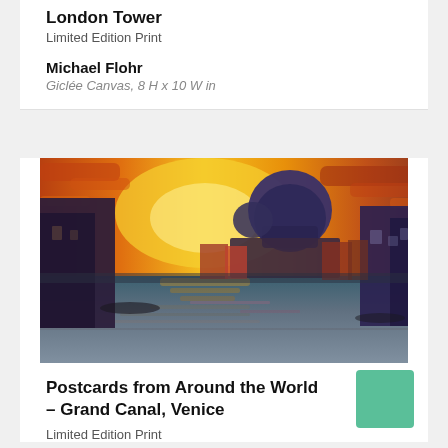London Tower
Limited Edition Print
Michael Flohr
Giclée Canvas, 8 H x 10 W in
[Figure (photo): Impressionist oil painting of the Grand Canal in Venice at sunset, with a large domed church (Santa Maria della Salute) silhouetted against an orange and yellow sky, reflections shimmering on the water, dark buildings on both sides.]
Postcards from Around the World – Grand Canal, Venice
Limited Edition Print